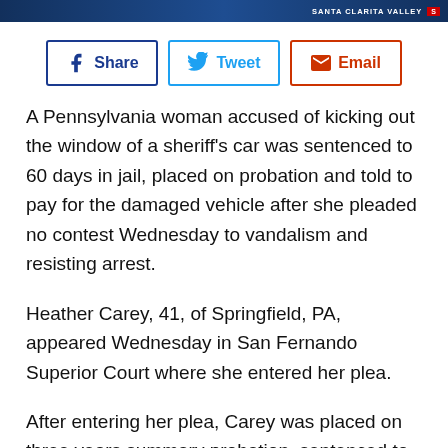[Figure (other): Newspaper masthead/header bar with dark blue background and red badge]
[Figure (infographic): Social sharing buttons: Share (Facebook), Tweet (Twitter), Email]
A Pennsylvania woman accused of kicking out the window of a sheriff's car was sentenced to 60 days in jail, placed on probation and told to pay for the damaged vehicle after she pleaded no contest Wednesday to vandalism and resisting arrest.
Heather Carey, 41, of Springfield, PA, appeared Wednesday in San Fernando Superior Court where she entered her plea.
After entering her plea, Carey was placed on three years summary probation, sentenced to 60 days Los